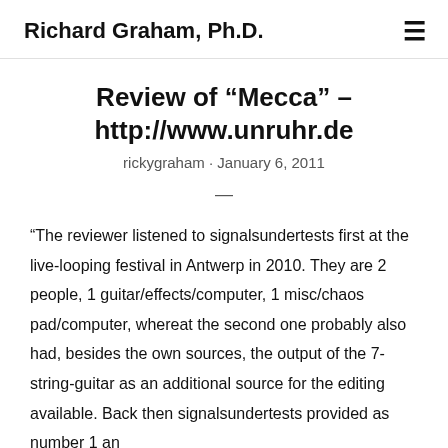Richard Graham, Ph.D.
Review of “Mecca” – http://www.unruhr.de
rickygraham · January 6, 2011
—
“The reviewer listened to signalsundertests first at the live-looping festival in Antwerp in 2010. They are 2 people, 1 guitar/effects/computer, 1 misc/chaos pad/computer, whereat the second one probably also had, besides the own sources, the output of the 7-string-guitar as an additional source for the editing available. Back then signalsundertests provided as number 1 an